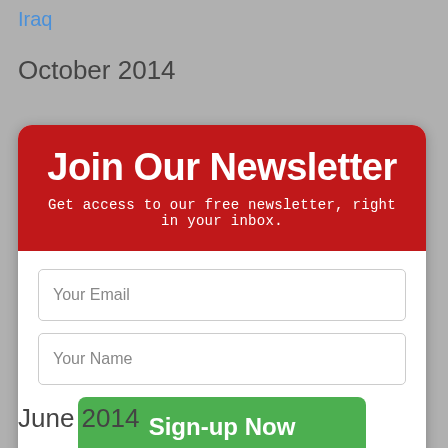Iraq
October 2014
[Figure (infographic): Newsletter signup modal overlay with red header saying 'Join Our Newsletter', subtitle 'Get access to our free newsletter, right in your inbox.', two input fields for email and name, a green 'Sign-up Now' button, and a 'Sorry, I don't have an email address' link.]
June 2014